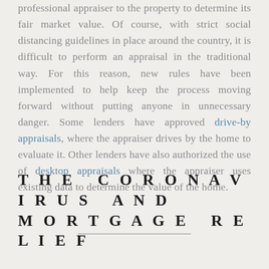professional appraiser to the property to determine its fair market value. Of course, with strict social distancing guidelines in place around the country, it is difficult to perform an appraisal in the traditional way. For this reason, new rules have been implemented to help keep the process moving forward without putting anyone in unnecessary danger. Some lenders have approved drive-by appraisals, where the appraiser drives by the home to evaluate it. Other lenders have also authorized the use of desktop appraisals where the appraiser uses existing data to determine the value of the home.
THE CORONAVIRUS AND MORTGAGE RELIEF